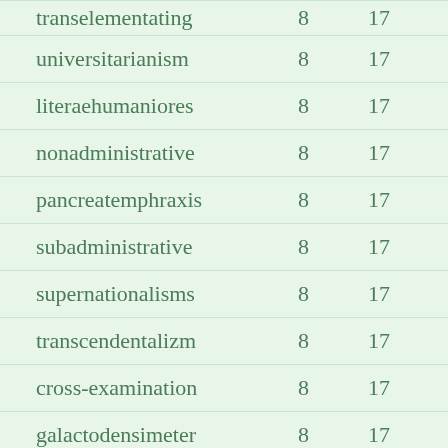| word | col2 | col3 |
| --- | --- | --- |
| transelementating | 8 | 17 |
| universitarianism | 8 | 17 |
| literaehumaniores | 8 | 17 |
| nonadministrative | 8 | 17 |
| pancreatemphraxis | 8 | 17 |
| subadministrative | 8 | 17 |
| supernationalisms | 8 | 17 |
| transcendentalizm | 8 | 17 |
| cross-examination | 8 | 17 |
| galactodensimeter | 8 | 17 |